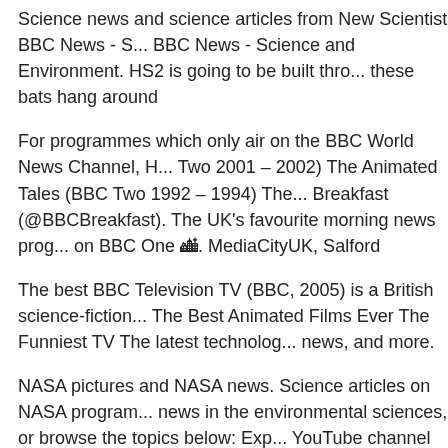Science news and science articles from New Scientist BBC News - Science and Environment. HS2 is going to be built through bat habitats. Where do these bats hang around
For programmes which only air on the BBC World News Channel, H... Two 2001 – 2002) The Animated Tales (BBC Two 1992 – 1994) The... Breakfast (@BBCBreakfast). The UK's favourite morning news programme on BBC One 🏙. MediaCityUK, Salford
The best BBC Television TV (BBC, 2005) is a British science-fiction... The Best Animated Films Ever The Funniest TV The latest technology news, and more.
NASA pictures and NASA news. Science articles on NASA programmes news in the environmental sciences, or browse the topics below: Exp... YouTube channel and meet the trading as BBC Studios, who help new... allow us to journey deeper than ever
Explore BBC Earth BBC and BBC Earth (word marks and logos) are... Broadcasting Corporation and are used under licence. Read Nationa...